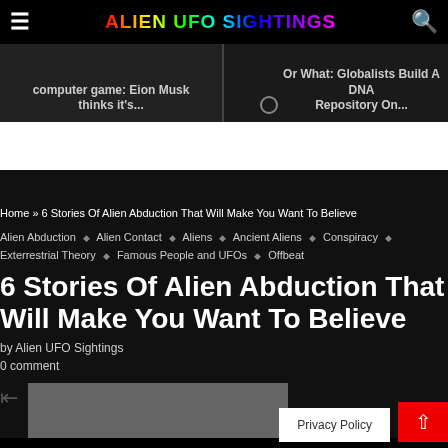ALIEN UFO SIGHTINGS
computer game: Eion Musk thinks it's...
Or What: Globalists Build A DNA Repository On...
Home » 6 Stories Of Alien Abduction That Will Make You Want To Believe
Alien Abduction ◆ Alien Contact ◆ Aliens ◆ Ancient Aliens ◆ Conspiracy ◆ Exterrestrial Theory ◆ Famous People and UFOs ◆ Offbeat
6 Stories Of Alien Abduction That Will Make You Want To Believe
by Alien UFO Sightings
0 comment